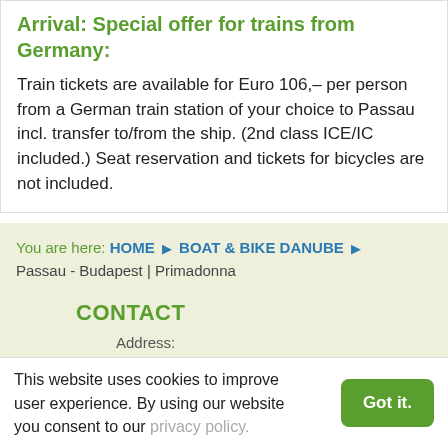Arrival: Special offer for trains from Germany:
Train tickets are available for Euro 106,– per person from a German train station of your choice to Passau incl. transfer to/from the ship. (2nd class ICE/IC included.) Seat reservation and tickets for bicycles are not included.
You are here: HOME ▶ BOAT & BIKE DANUBE ▶ Passau - Budapest | Primadonna
CONTACT
Address:
This website uses cookies to improve user experience. By using our website you consent to our privacy policy.